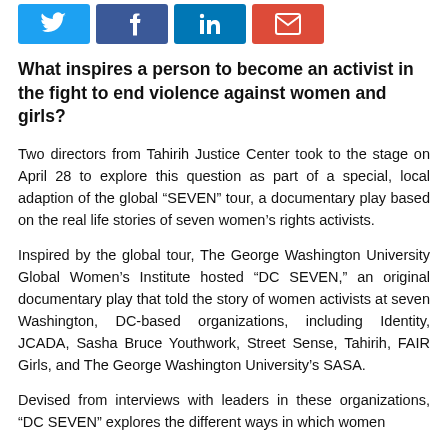[Figure (other): Social sharing buttons: Twitter (blue), Facebook (dark blue), LinkedIn (blue), Email (red)]
What inspires a person to become an activist in the fight to end violence against women and girls?
Two directors from Tahirih Justice Center took to the stage on April 28 to explore this question as part of a special, local adaption of the global “SEVEN” tour, a documentary play based on the real life stories of seven women’s rights activists.
Inspired by the global tour, The George Washington University Global Women’s Institute hosted “DC SEVEN,” an original documentary play that told the story of women activists at seven Washington, DC-based organizations, including Identity, JCADA, Sasha Bruce Youthwork, Street Sense, Tahirih, FAIR Girls, and The George Washington University’s SASA.
Devised from interviews with leaders in these organizations, “DC SEVEN” explores the different ways in which women